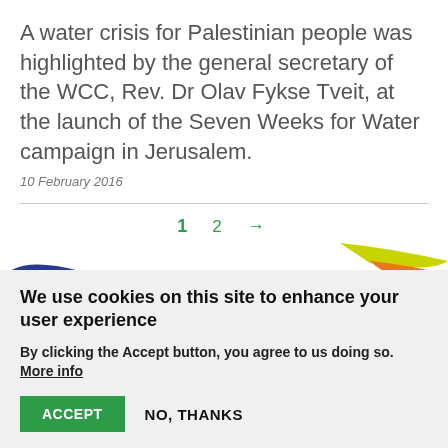A water crisis for Palestinian people was highlighted by the general secretary of the WCC, Rev. Dr Olav Fykse Tveit, at the launch of the Seven Weeks for Water campaign in Jerusalem.
10 February 2016
1 2 →
We use cookies on this site to enhance your user experience
By clicking the Accept button, you agree to us doing so. More info
ACCEPT  NO, THANKS